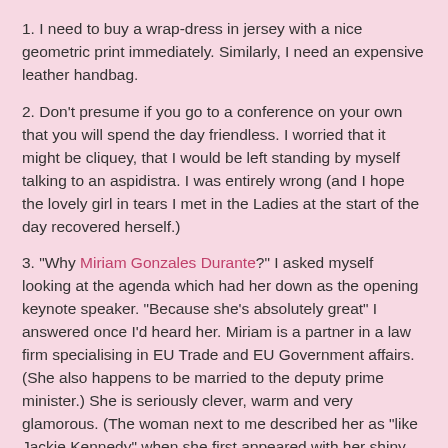1. I need to buy a wrap-dress in jersey with a nice geometric print immediately. Similarly, I need an expensive leather handbag.
2. Don't presume if you go to a conference on your own that you will spend the day friendless. I worried that it might be cliquey, that I would be left standing by myself talking to an aspidistra. I was entirely wrong (and I hope the lovely girl in tears I met in the Ladies at the start of the day recovered herself.)
3. "Why Miriam Gonzales Durante?" I asked myself looking at the agenda which had her down as the opening keynote speaker. "Because she's absolutely great" I answered once I'd heard her. Miriam is a partner in a law firm specialising in EU Trade and EU Government affairs.(She also happens to be married to the deputy prime minister.) She is seriously clever, warm and very glamorous. (The woman next to me described her as "like Jackie Kennedy" when she first appeared with her shiny, shiny dark hair and chic white top. Tell me I wasn't the only one in the audience thinking "Miriam, baby... Nick Clegg? Nick Clegg. Why?"